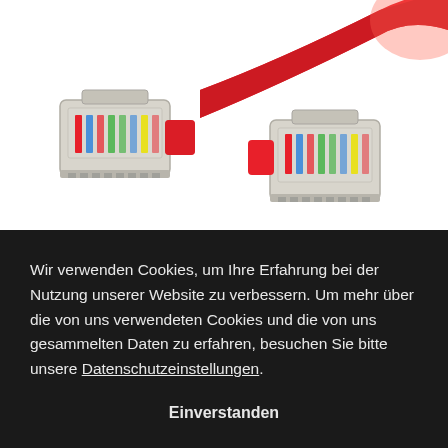[Figure (photo): Two red RJ45 Ethernet network cable connectors (plugs) viewed from the side, showing transparent plastic housing with colored wires inside, connected to a red cable that extends toward the upper right.]
Wir verwenden Cookies, um Ihre Erfahrung bei der Nutzung unserer Website zu verbessern. Um mehr über die von uns verwendeten Cookies und die von uns gesammelten Daten zu erfahren, besuchen Sie bitte unsere Datenschutzeinstellungen.
Einverstanden